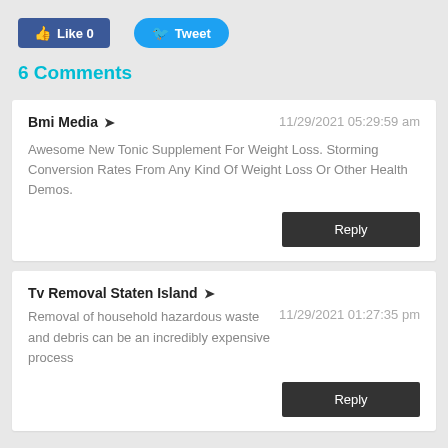[Figure (screenshot): Like button (Facebook) with count 0 and Tweet button (Twitter)]
6 Comments
Bmi Media ➤	11/29/2021 05:29:59 am
Awesome New Tonic Supplement For Weight Loss. Storming Conversion Rates From Any Kind Of Weight Loss Or Other Health Demos.
Tv Removal Staten Island ➤	11/29/2021 01:27:35 pm
Removal of household hazardous waste and debris can be an incredibly expensive process